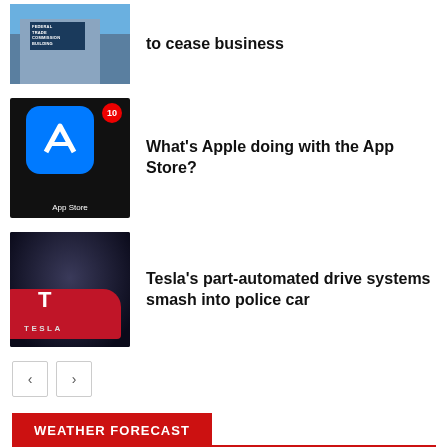[Figure (photo): Thumbnail of a building, partial view at top of page]
to cease business
[Figure (photo): App Store icon with red notification badge showing 10, on dark background]
What's Apple doing with the App Store?
[Figure (photo): Tesla car with T logo in red, dark tunnel background with TESLA text]
Tesla's part-automated drive systems smash into police car
WEATHER FORECAST
LONDON
Overcast Clouds
17.6°